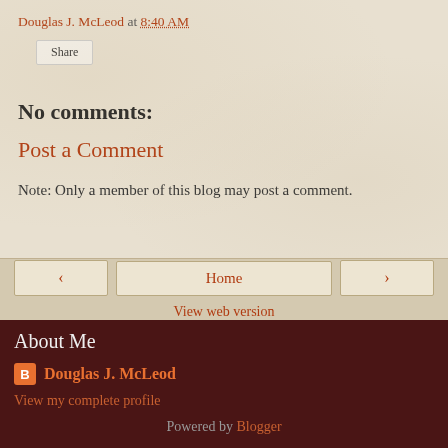Douglas J. McLeod at 8:40 AM
Share
No comments:
Post a Comment
Note: Only a member of this blog may post a comment.
< Home > View web version
About Me
Douglas J. McLeod
View my complete profile
Powered by Blogger